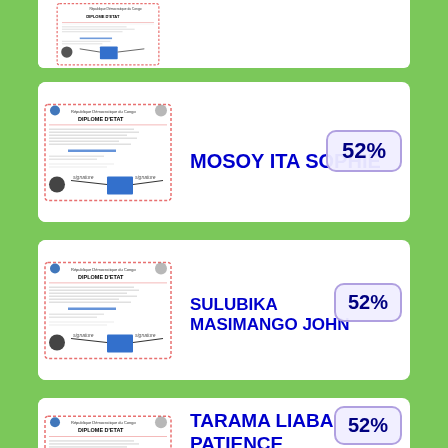[Figure (other): Partially visible card with a Congolese state diploma document thumbnail at top of page]
[Figure (other): Card showing Congolese DIPLOME D'ETAT document thumbnail]
MOSOY ITA SOPHIE
52%
[Figure (other): Card showing Congolese DIPLOME D'ETAT document thumbnail]
SULUBIKA MASIMANGO JOHN
52%
[Figure (other): Card showing Congolese DIPLOME D'ETAT document thumbnail]
TARAMA LIABA PATIENCE
52%